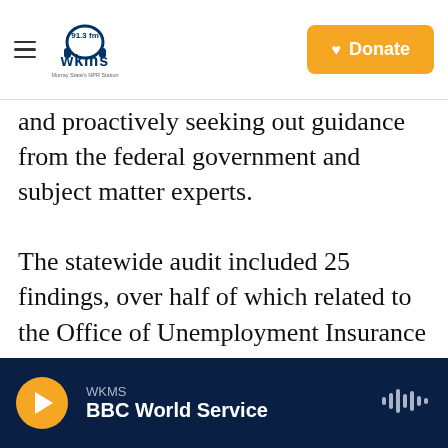WKMS 91.3 fm — Murray State's NPR Station | Donate
and proactively seeking out guidance from the federal government and subject matter experts.
The statewide audit included 25 findings, over half of which related to the Office of Unemployment Insurance office. Harmon's office found the Commonwealth Office of Technology lacked a comprehensive list of machines and several departments, including the Department of Revenue, office of technology and the Finance and Administration cabinet weren't complying with
WKMS — BBC World Service